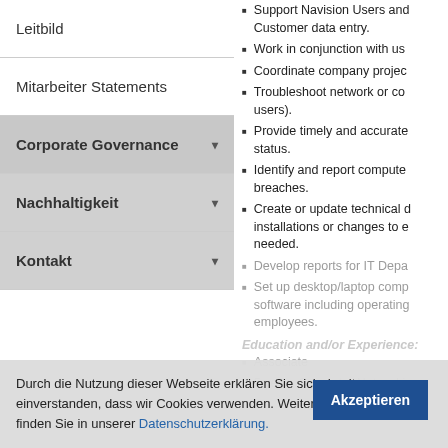Leitbild
Mitarbeiter Statements
Corporate Governance
Nachhaltigkeit
Kontakt
Support Navision Users and Customer data entry.
Work in conjunction with us
Coordinate company projec
Troubleshoot network or co users).
Provide timely and accurate status.
Identify and report compute breaches.
Create or update technical d installations or changes to e needed.
Develop reports for IT Depa
Set up desktop/laptop comp software including operating employees.
Education and/or Experience:
Associate
5 years Computer Networki
Durch die Nutzung dieser Webseite erklären Sie sich damit einverstanden, dass wir Cookies verwenden. Weitere Informationen finden Sie in unserer Datenschutzerklärung.